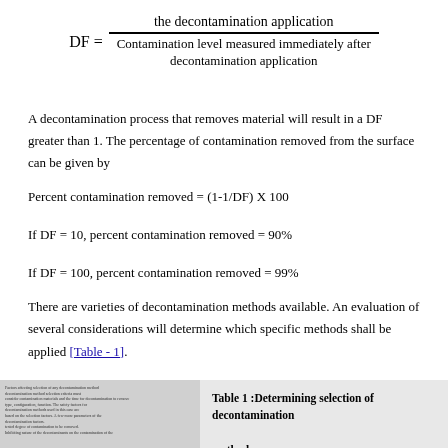A decontamination process that removes material will result in a DF greater than 1. The percentage of contamination removed from the surface can be given by
There are varieties of decontamination methods available. An evaluation of several considerations will determine which specific methods shall be applied [Table - 1].
Table 1 :Determining selection of decontamination methods